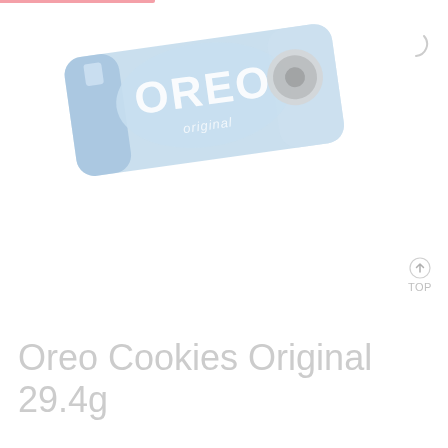[Figure (photo): Oreo Cookies Original 29.4g product package photo — a light blue Oreo cookie packet shown at a slight angle, with the OREO logo prominently displayed and 'Original' text on the packaging, along with an image of an Oreo cookie and milk.]
Oreo Cookies Original 29.4g